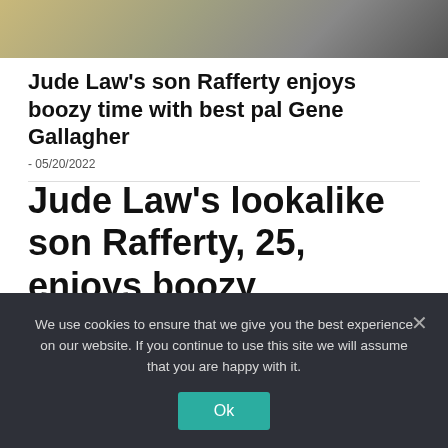[Figure (photo): Partial photo strip showing outdoor scene with people, partially cropped at top of page]
Jude Law's son Rafferty enjoys boozy time with best pal Gene Gallagher
- 05/20/2022
Jude Law's lookalike son Rafferty, 25, enjoys boozy afternoon out with best pal Gene Gallagher, 20,
We use cookies to ensure that we give you the best experience on our website. If you continue to use this site we will assume that you are happy with it.
Ok